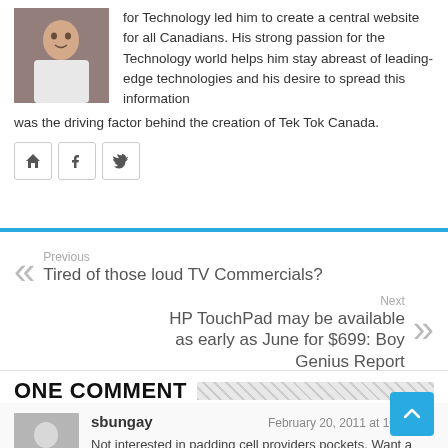for Technology led him to create a central website for all Canadians. His strong passion for the Technology world helps him stay abreast of leading-edge technologies and his desire to spread this information was the driving factor behind the creation of Tek Tok Canada.
[Figure (photo): Author photo - man in white t-shirt against brick wall background]
[Figure (infographic): Social media icons: home, facebook, twitter]
Previous
Tired of those loud TV Commercials?
Next
HP TouchPad may be available as early as June for $699: Boy Genius Report
ONE COMMENT
sbungay — February 20, 2011 at 10:26 PM
Not interested in padding cell providers pockets. Want a wifi xoom I can tether to my nexus one if I want, otherwise wifi only. Why do manufactuers (apple excepted) have such a problem bringing a non cell phone tablet to market?